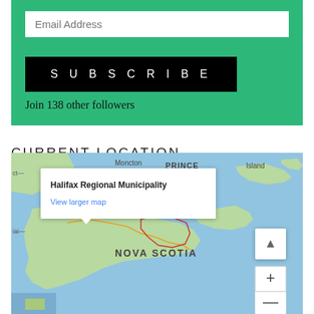[Figure (screenshot): Email subscription widget with green background, email input field, black SUBSCRIBE button, and 'Join 138 other followers' text]
Join 138 other followers
CURRENT LOCATION
[Figure (map): Google Maps showing Halifax Regional Municipality in Nova Scotia, Canada, with a popup bubble showing the location name and a 'View larger map' link. Map shows the Maritime provinces including Nova Scotia, Prince Edward Island, and New Brunswick.]